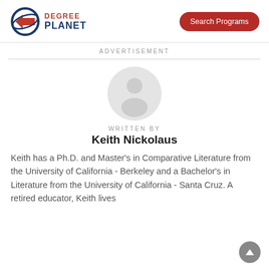[Figure (logo): Degree Planet logo with circular orbit icon in navy and red, text DEGREE PLANET in navy and red]
[Figure (other): Red pill-shaped Search Programs button]
ADVERTISEMENT
[Figure (photo): Circular author photo placeholder (light gray circle with blurred person silhouette)]
WRITTEN BY
Keith Nickolaus
Keith has a Ph.D. and Master's in Comparative Literature from the University of California - Berkeley and a Bachelor's in Literature from the University of California - Santa Cruz. A retired educator, Keith lives